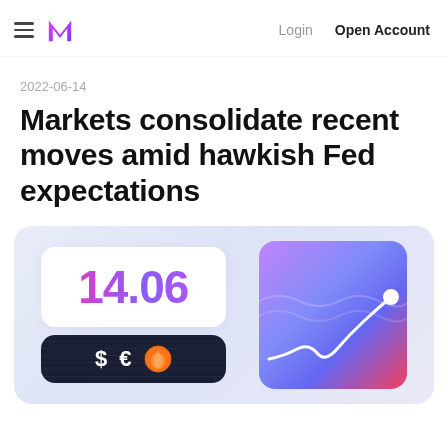Login  Open Account
2022-06-14
Markets consolidate recent moves amid hawkish Fed expectations
[Figure (infographic): Financial app UI illustration showing a price card with '14.06' in purple gradient, a dark card with $ € and oil drop symbols, and a line chart card with purple-to-pink gradient background and a rising white line with a circular endpoint]